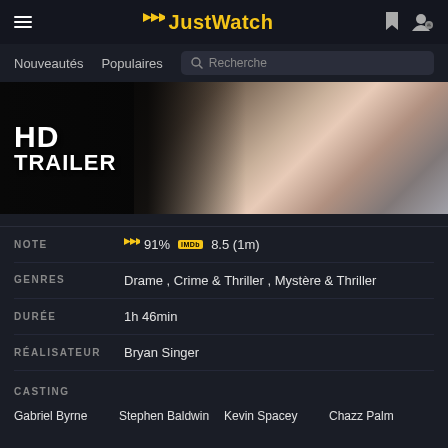JustWatch
[Figure (screenshot): Navigation bar with Nouveautés, Populaires and Recherche search field]
[Figure (photo): HD TRAILER thumbnail showing a close-up face of a man in a dark jacket]
NOTE  ▶ 91%  IMDB 8.5 (1m)
GENRES  Drame , Crime & Thriller , Mystère & Thriller
DURÉE  1h 46min
RÉALISATEUR  Bryan Singer
CASTING
Gabriel Byrne   Stephen Baldwin   Kevin Spacey   Chazz Palm